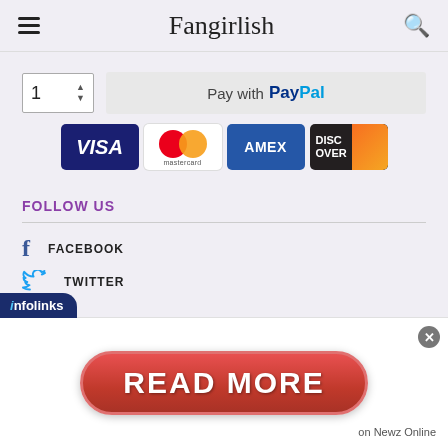Fangirlish
[Figure (screenshot): PayPal payment button with quantity selector showing '1' and 'Pay with PayPal' text]
[Figure (screenshot): Payment card logos: VISA, Mastercard, AMEX, DISCOVER]
FOLLOW US
FACEBOOK
TWITTER
[Figure (screenshot): Infolinks advertisement banner with 'READ MORE on Newz Online' button]